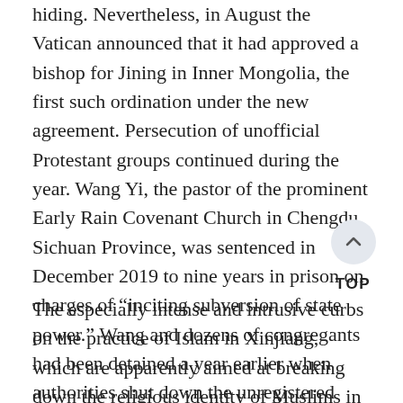hiding. Nevertheless, in August the Vatican announced that it had approved a bishop for Jining in Inner Mongolia, the first such ordination under the new agreement. Persecution of unofficial Protestant groups continued during the year. Wang Yi, the pastor of the prominent Early Rain Covenant Church in Chengdu, Sichuan Province, was sentenced in December 2019 to nine years in prison on charges of “inciting subversion of state power.” Wang and dozens of congregants had been detained a year earlier when authorities shut down the unregistered church. His wife and other church members were eventually released, though they remained under police scrutiny.
TOP
The especially intense and intrusive curbs on the practice of Islam in Xinjiang, which are apparently aimed at breaking down the religious identity of Muslims in the region, have affected the wearing of religious attire, attendance at